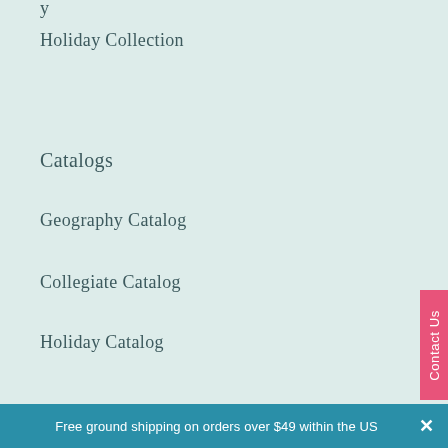Holiday Collection
Catalogs
Geography Catalog
Collegiate Catalog
Holiday Catalog
Keep in Touch
Free ground shipping on orders over $49 within the US